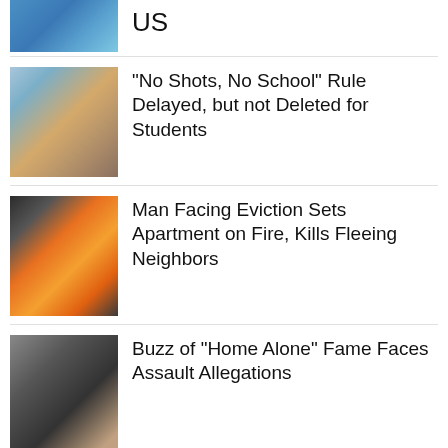[Figure (photo): Close-up of gloved hands with syringe/medical injection, blue tones]
US
[Figure (photo): Students walking into school building, children with backpacks]
“No Shots, No School” Rule Delayed, but not Deleted for Students
[Figure (photo): Building on fire with large orange flames and smoke]
Man Facing Eviction Sets Apartment on Fire, Kills Fleeing Neighbors
[Figure (photo): Person in dark clothing pointing finger at camera]
Buzz of “Home Alone” Fame Faces Assault Allegations
[Figure (photo): Pope Francis in white robes, praying or bowing head]
Pope Francis Asks Kim Jong-un Regime To Let Him Visit